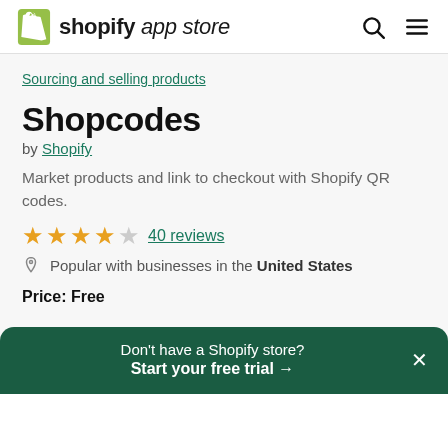shopify app store
Sourcing and selling products
Shopcodes
by Shopify
Market products and link to checkout with Shopify QR codes.
★★★★☆  40 reviews
Popular with businesses in the United States
Price: Free
Don't have a Shopify store? Start your free trial →